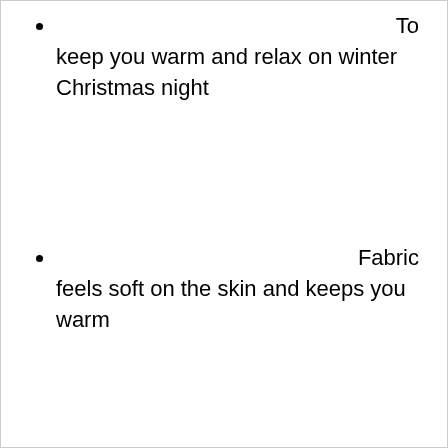To keep you warm and relax on winter Christmas night
Fabric feels soft on the skin and keeps you warm
Warm